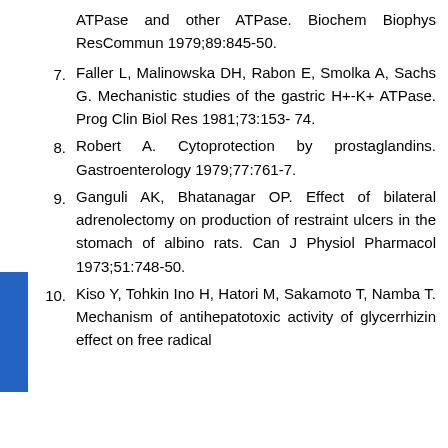(continuation) ATPase and other ATPase. Biochem Biophys ResCommun 1979;89:845-50.
7. Faller L, Malinowska DH, Rabon E, Smolka A, Sachs G. Mechanistic studies of the gastric H+-K+ ATPase. Prog Clin Biol Res 1981;73:153-74.
8. Robert A. Cytoprotection by prostaglandins. Gastroenterology 1979;77:761-7.
9. Ganguli AK, Bhatanagar OP. Effect of bilateral adrenolectomy on production of restraint ulcers in the stomach of albino rats. Can J Physiol Pharmacol 1973;51:748-50.
10. Kiso Y, Tohkin Ino H, Hatori M, Sakamoto T, Namba T. Mechanism of antihepatotoxic activity of glycerrhizin effect on free radical